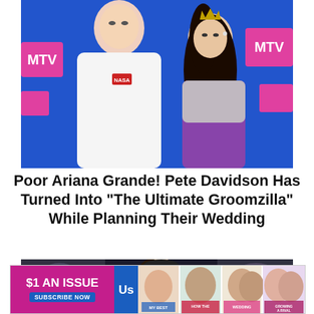[Figure (photo): Pete Davidson and Ariana Grande posing together at MTV VMAs on a blue and pink backdrop. Pete wears a white NASA sweatshirt, Ariana wears a silver/purple strapless outfit with long dark hair.]
Poor Ariana Grande! Pete Davidson Has Turned Into "The Ultimate Groomzilla" While Planning Their Wedding
[Figure (photo): Dark intimate photo of Pete Davidson and Ariana Grande together, close up, with blurred background.]
[Figure (photo): Advertisement banner: $1 AN ISSUE SUBSCRIBE NOW with Us Weekly magazine covers showing celebrities.]